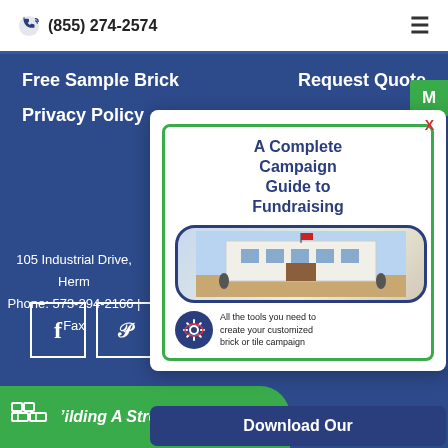(855) 274-2574
Free Sample Brick
Request Quote
Privacy Policy
105 Industrial Drive, Herm...
Phone: 573-294-2166 | Fax...
[Figure (screenshot): Facebook and Pinterest social media icon boxes]
[Figure (logo): Building A Strong Foundation logo with stylized brick graphic]
[Figure (infographic): Popup ad: A Complete Campaign Guide to Fundraising - shows brick building image and gear icon with text 'All the tools you need to create your customized brick or tile campaign']
Download Our